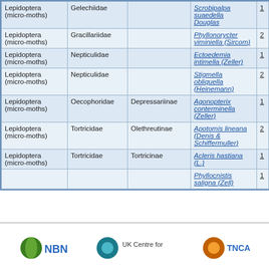| Order | Family | Subfamily | Species | # |
| --- | --- | --- | --- | --- |
| Lepidoptera (micro-moths) | Gelechiidae |  | Scrobipalpa suaedella Douglas | 1 |
| Lepidoptera (micro-moths) | Gracillariidae |  | Phyllonorycter viminiella (Sircom) | 2 |
| Lepidoptera (micro-moths) | Nepticulidae |  | Ectoedemia intimella (Zeller) | 1 |
| Lepidoptera (micro-moths) | Nepticulidae |  | Stigmella obliquella (Heinemann) | 2 |
| Lepidoptera (micro-moths) | Oecophoridae | Depressariinae | Agonopterix conterminella (Zeller) | 1 |
| Lepidoptera (micro-moths) | Tortricidae | Olethreutinae | Apotomis lineana (Denis & Schiffermuller) | 2 |
| Lepidoptera (micro-moths) | Tortricidae | Tortricinae | Acleris hastiana (L.) | 1 |
|  |  |  | Phyllocnistis saligna (Zell) | 1 |
[Figure (logo): Footer with NBN logo, UK Centre for logo, and TNCA logo]